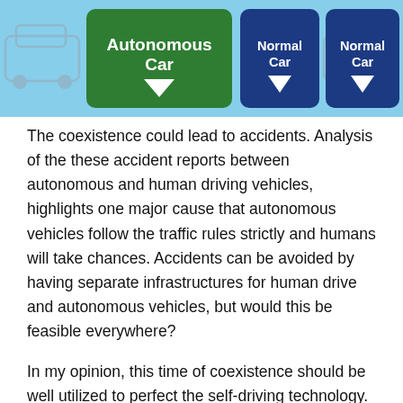[Figure (infographic): A light blue banner showing three highway sign-style buttons in a row: 'Autonomous Car' (green, with white arrow pointing down), 'Normal Car' (dark blue, with white arrow pointing down), 'Normal Car' (dark blue, with white arrow pointing down). Small grey car silhouettes are visible on the left and right ends of the banner.]
The coexistence could lead to accidents. Analysis of the these accident reports between autonomous and human driving vehicles, highlights one major cause that autonomous vehicles follow the traffic rules strictly and humans will take chances. Accidents can be avoided by having separate infrastructures for human drive and autonomous vehicles, but would this be feasible everywhere?
In my opinion, this time of coexistence should be well utilized to perfect the self-driving technology. There is a lot that autonomous vehicles can learn from peer human drivers. Also OEM's can perfect the self-driving software...